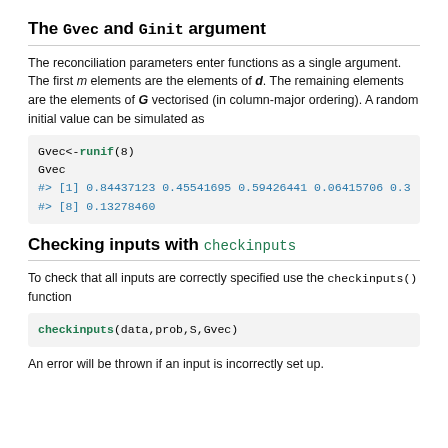The Gvec and Ginit argument
The reconciliation parameters enter functions as a single argument. The first m elements are the elements of d. The remaining elements are the elements of G vectorised (in column-major ordering). A random initial value can be simulated as
[Figure (screenshot): R code block: Gvec<-runif(8) followed by Gvec, with output #> [1] 0.84437123 0.45541695 0.59426441 0.06415706 0.3 and #> [8] 0.13278460]
Checking inputs with checkinputs
To check that all inputs are correctly specified use the checkinputs() function
[Figure (screenshot): R code block: checkinputs(data,prob,S,Gvec)]
An error will be thrown if an input is incorrectly set up.